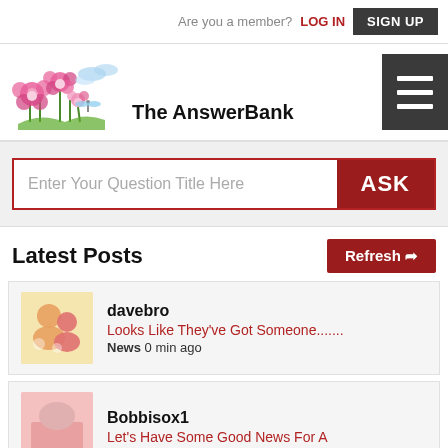Are you a member? LOG IN  SIGN UP
[Figure (logo): The AnswerBank logo with pink flowers and blue birds illustration]
Enter Your Question Title Here  ASK
Latest Posts
davebro
Looks Like They've Got Someone.......
News 0 min ago
Bobbisox1
Let's Have Some Good News For A